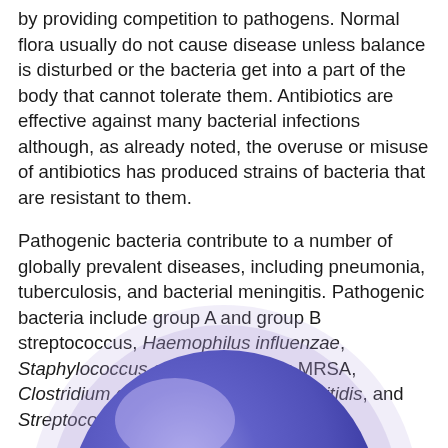by providing competition to pathogens. Normal flora usually do not cause disease unless balance is disturbed or the bacteria get into a part of the body that cannot tolerate them. Antibiotics are effective against many bacterial infections although, as already noted, the overuse or misuse of antibiotics has produced strains of bacteria that are resistant to them.
Pathogenic bacteria contribute to a number of globally prevalent diseases, including pneumonia, tuberculosis, and bacterial meningitis. Pathogenic bacteria include group A and group B streptococcus, Haemophilus influenzae, Staphylococcus aureus, including MRSA, Clostridium difficile, Neisseria meningitidis, and Streptococcus pneumoniae.
[Figure (illustration): A spherical purple/blue bacterium cell illustration, partially visible at the bottom of the page, showing a round cell with internal structures visible and a soft glowing purplish aura.]